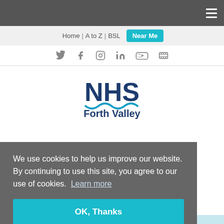NHS Forth Valley website header with navigation menu, Home | A to Z | BSL | Near Me, social icons, and NHS Forth Valley logo
We use cookies to help us improve our website. By continuing to use this site, you agree to our use of cookies. Learn more
OK, Thanks